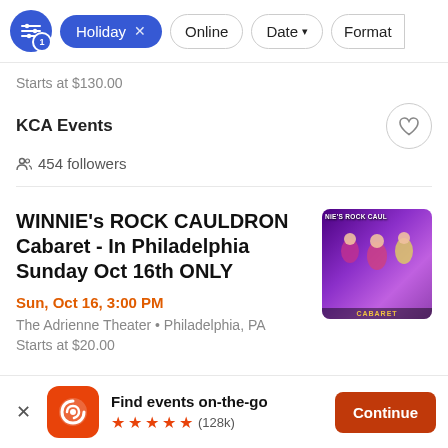Filter controls: Holiday (active, x), Online, Date, Format
Starts at $130.00
KCA Events
454 followers
WINNIE's ROCK CAULDRON Cabaret - In Philadelphia Sunday Oct 16th ONLY
Sun, Oct 16, 3:00 PM
The Adrienne Theater • Philadelphia, PA
Starts at $20.00
Find events on-the-go ★★★★★ (128k)
Continue